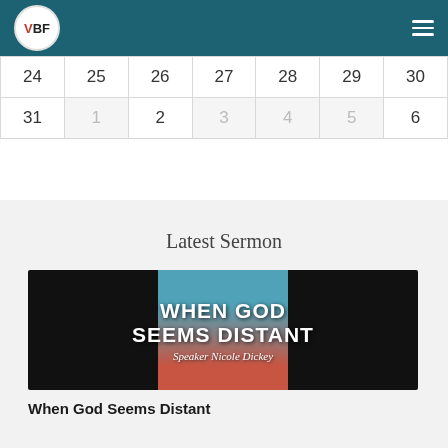VBF
| 24 | 25 | 26 | 27 | 28 | 29 | 30 |
| 31 | 1 | 2 | 3 | 4 | 5 | 6 |
Latest Sermon
[Figure (photo): Sermon promotional image with text WHEN GOD SEEMS DISTANT and Speaker Nicole Dickey on dark background with teal and coral circular graphic]
When God Seems Distant